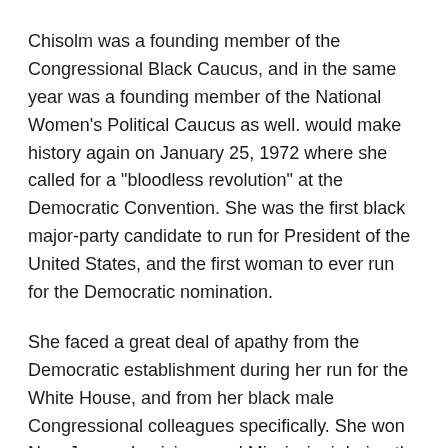Chisolm was a founding member of the Congressional Black Caucus, and in the same year was a founding member of the National Women's Political Caucus as well. would make history again on January 25, 1972 where she called for a "bloodless revolution" at the Democratic Convention. She was the first black major-party candidate to run for President of the United States, and the first woman to ever run for the Democratic nomination.
She faced a great deal of apathy from the Democratic establishment during her run for the White House, and from her black male Congressional colleagues specifically. She won New Jersey, Louisiana and Mississippi during the primary via a deal with former vice president Hubert Humphrey, who released his black delegates to Chisolm as a